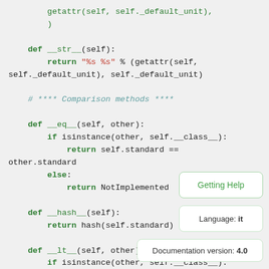getattr(self, self._default_unit),
        )

    def __str__(self):
        return "%s %s" % (getattr(self,
self._default_unit), self._default_unit)

    # **** Comparison methods ****

    def __eq__(self, other):
        if isinstance(other, self.__class__):
            return self.standard ==
other.standard
        else:
            return NotImplemented

    def __hash__(self):
        return hash(self.standard)

    def __lt__(self, other)
        if isinstance(other, self.__class__):
Getting Help
Language: it
Documentation version: 4.0